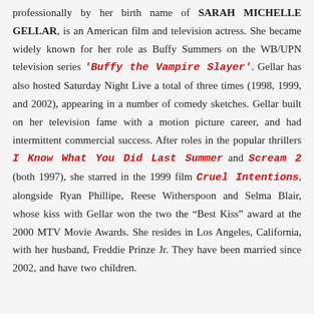professionally by her birth name of SARAH MICHELLE GELLAR, is an American film and television actress. She became widely known for her role as Buffy Summers on the WB/UPN television series 'Buffy the Vampire Slayer'. Gellar has also hosted Saturday Night Live a total of three times (1998, 1999, and 2002), appearing in a number of comedy sketches. Gellar built on her television fame with a motion picture career, and had intermittent commercial success. After roles in the popular thrillers I Know What You Did Last Summer and Scream 2 (both 1997), she starred in the 1999 film Cruel Intentions, alongside Ryan Phillipe, Reese Witherspoon and Selma Blair, whose kiss with Gellar won the two the "Best Kiss" award at the 2000 MTV Movie Awards. She resides in Los Angeles, California, with her husband, Freddie Prinze Jr. They have been married since 2002, and have two children.